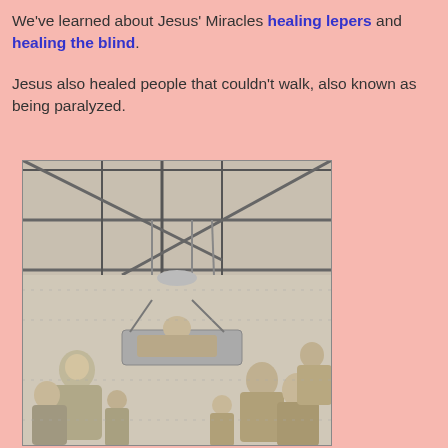We've learned about Jesus' Miracles healing lepers and healing the blind. Jesus also healed people that couldn't walk, also known as being paralyzed.
[Figure (illustration): A black and white engraving depicting the biblical scene of a paralyzed man being lowered through a roof on a mat by several people, with a crowd gathered below including a robed figure (Jesus). The scene shows rooftop beams from above and multiple figures around the mat/litter.]